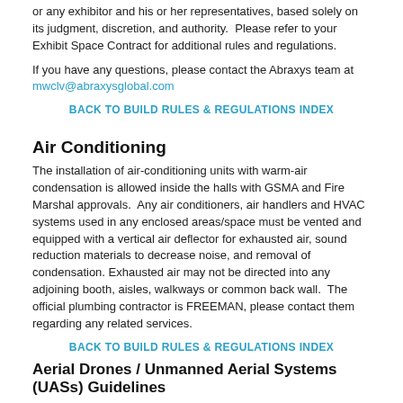or any exhibitor and his or her representatives, based solely on its judgment, discretion, and authority.  Please refer to your Exhibit Space Contract for additional rules and regulations.
If you have any questions, please contact the Abraxys team at mwclv@abraxysglobal.com
BACK TO BUILD RULES & REGULATIONS INDEX
Air Conditioning
The installation of air-conditioning units with warm-air condensation is allowed inside the halls with GSMA and Fire Marshal approvals.  Any air conditioners, air handlers and HVAC systems used in any enclosed areas/space must be vented and equipped with a vertical air deflector for exhausted air, sound reduction materials to decrease noise, and removal of condensation. Exhausted air may not be directed into any adjoining booth, aisles, walkways or common back wall.  The official plumbing contractor is FREEMAN, please contact them regarding any related services.
BACK TO BUILD RULES & REGULATIONS INDEX
Aerial Drones / Unmanned Aerial Systems (UASs) Guidelines
UASs – Unmanned aerial systems includes all of the following:
All drone/UAS operators must comply with all FAA requirements.
UV/e, Unmanned Aerial Vehicles